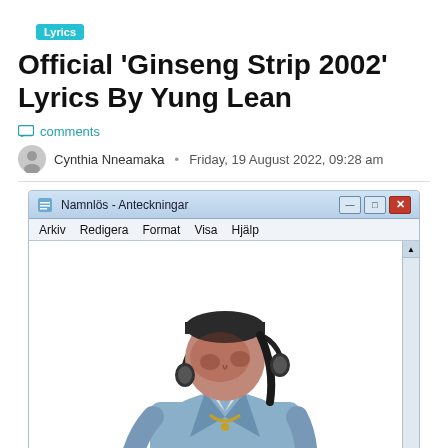Lyrics
Official ‘Ginseng Strip 2002’ Lyrics By Yung Lean
comments
Cynthia Nneamaka · Friday, 19 August 2022, 09:28 am
[Figure (screenshot): Screenshot of a Windows Notepad window titled 'Namlös - Anteckningar' with menu items Arkiv, Redigera, Format, Visa, Hjälp, containing a 3D rendered image of Yung Lean (a figure in a blue denim jacket with headphones and a gold chain, head bowed down, with a dark headband)]